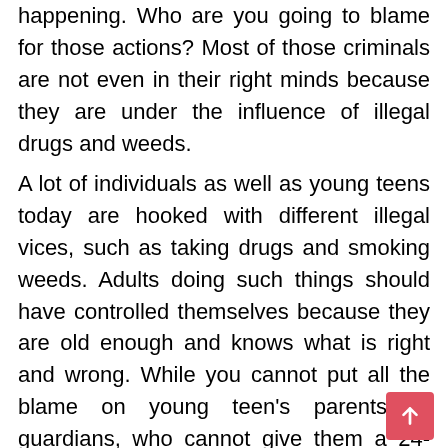happening. Who are you going to blame for those actions? Most of those criminals are not even in their right minds because they are under the influence of illegal drugs and weeds.
A lot of individuals as well as young teens today are hooked with different illegal vices, such as taking drugs and smoking weeds. Adults doing such things should have controlled themselves because they are old enough and knows what is right and wrong. While you cannot put all the blame on young teen's parents or guardians, who cannot give them a 24-hour time. Remember that these individuals have friends and are living in a world full of temptations and people to influence them.
A...